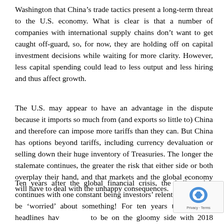Washington that China's trade tactics present a long-term threat to the U.S. economy. What is clear is that a number of companies with international supply chains don't want to get caught off-guard, so, for now, they are holding off on capital investment decisions while waiting for more clarity. However, less capital spending could lead to less output and less hiring and thus affect growth.
The U.S. may appear to have an advantage in the dispute because it imports so much from (and exports so little to) China and therefore can impose more tariffs than they can. But China has options beyond tariffs, including currency devaluation or selling down their huge inventory of Treasuries. The longer the stalemate continues, the greater the risk that either side or both overplay their hand, and that markets and the global economy will have to deal with the unhappy consequences.
Ten years after the global financial crisis, the bull market continues with one constant being investors' relentless desire to be 'worried' about something! For ten years the financial headlines have tended to be on the gloomy side with 2018 proving no exception, yet the market continues to climb despite some pull-backs in February and,